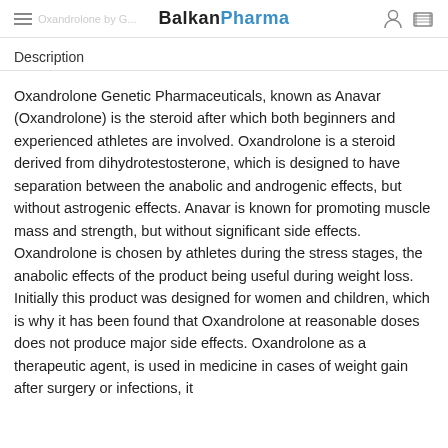BalkanPharma
Description
Oxandrolone Genetic Pharmaceuticals, known as Anavar (Oxandrolone) is the steroid after which both beginners and experienced athletes are involved. Oxandrolone is a steroid derived from dihydrotestosterone, which is designed to have separation between the anabolic and androgenic effects, but without astrogenic effects. Anavar is known for promoting muscle mass and strength, but without significant side effects. Oxandrolone is chosen by athletes during the stress stages, the anabolic effects of the product being useful during weight loss. Initially this product was designed for women and children, which is why it has been found that Oxandrolone at reasonable doses does not produce major side effects. Oxandrolone as a therapeutic agent, is used in medicine in cases of weight gain after surgery or infections, it